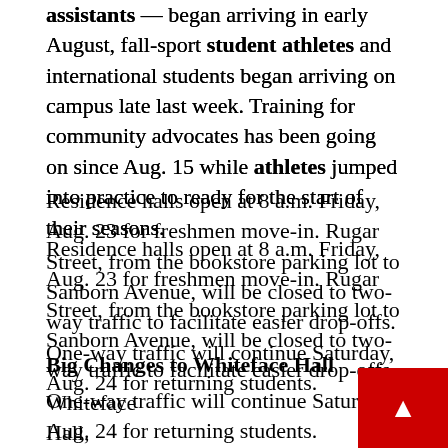assistants — began arriving in early August, fall-sport student athletes and international students began arriving on campus late last week. Training for community advocates has been going on since Aug. 15 while athletes jumped into practice to ready for the start of their seasons.
Residence halls open at 8 a.m. Friday, Aug. 23 for freshmen move-in. Rugar Street, from the bookstore parking lot to Sanborn Avenue, will be closed to two-way traffic to facilitate easier drop-offs. One-way traffic will continue Saturday, Aug. 24 for returning students.
Big Changes to Whiteface Hall
Whiteface Hall, which underwent extensive renovations beginning in May 2018, will re-open its doors to returning students. Walls, windows,